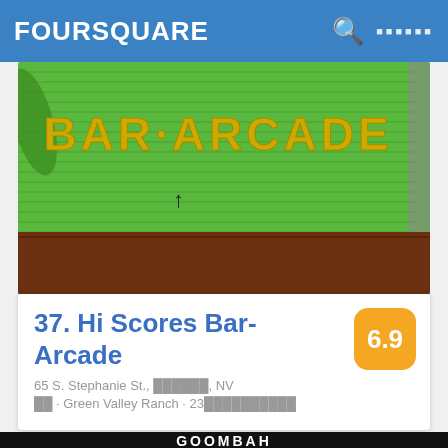FOURSQUARE
[Figure (photo): Photo of Hi Scores Bar-Arcade exterior, green metal roll-up door with yellow 'BAR·ARCADE' text, brown wall on right]
37. Hi Scores Bar-Arcade
65 S. Stephanie St., ██████, NV
██ · Green Valley Ranch · 23██████████
[Figure (photo): Photo of Goombah restaurant and barcade sign, white illuminated letters on dark background with blue neon subtitle 'RESTAURANT AND BARCADE']